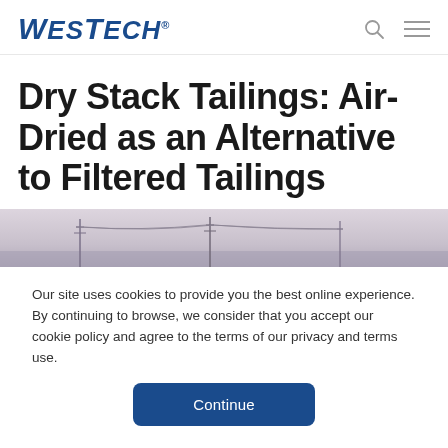WesTech® [search icon] [menu icon]
Dry Stack Tailings: Air-Dried as an Alternative to Filtered Tailings
[Figure (photo): Wide horizontal banner photograph of an industrial tailings site with power line pylons silhouetted against a pale grey sky]
Our site uses cookies to provide you the best online experience. By continuing to browse, we consider that you accept our cookie policy and agree to the terms of our privacy and terms use.
Continue